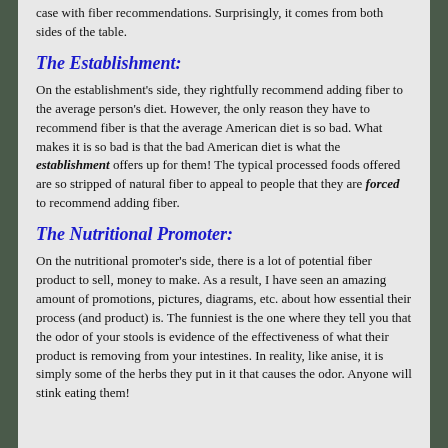case with fiber recommendations.  Surprisingly, it comes from both sides of the table.
The Establishment:
On the establishment's side, they rightfully recommend adding fiber to the average person's diet.  However, the only reason they have to recommend fiber is that the average American diet is so bad.  What makes it is so bad is that the bad American diet is what the establishment offers up for them!  The typical processed foods offered are so stripped of natural fiber to appeal to people that they are forced to recommend adding fiber.
The Nutritional Promoter:
On the nutritional promoter's side, there is a lot of potential fiber product to sell, money to make.  As a result, I have seen an amazing amount of promotions, pictures, diagrams, etc. about how essential their process (and product) is.  The funniest is the one where they tell you that the odor of your stools is evidence of the effectiveness of what their product is removing from your intestines.  In reality, like anise, it is simply some of the herbs they put in it that causes the odor.  Anyone will stink eating them!